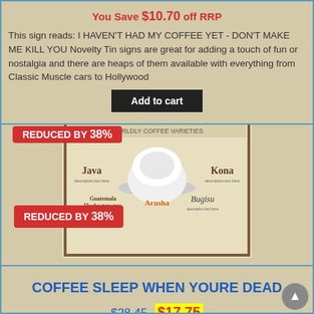You Save $10.70 off RRP
This sign reads: I HAVEN'T HAD MY COFFEE YET - DON'T MAKE ME KILL YOU Novelty Tin signs are great for adding a touch of fun or nostalgia and there are heaps of them available with everything from Classic Muscle cars to Hollywood
Add to cart
[Figure (photo): Product image of a coffee varieties poster featuring a coffee cup on a saucer, with text labels Java, Kona, Guatemala Huehuetenango, Arusha, Bugisu]
REDUCED BY 38%
REDUCED BY 38%
COFFEE SLEEP WHEN YOURE DEAD
$28.45 $17.75
You Save $10.70 off RRP
The COFFEE SLEEP WHEN YOURE DEAD sign would be great in any cafeteria, coffee shop or lounge bar. Novelty Tin signs are great for adding a touch of fun or nostalgia and there